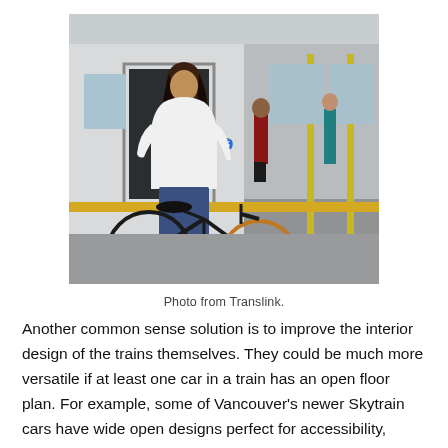[Figure (photo): A woman with long dark hair in a white top and jeans holds a bicycle at the open door of a SkyTrain/metro car on a platform. Inside the train car, two other passengers are visible. The platform has a yellow tactile strip.]
Photo from Translink.
Another common sense solution is to improve the interior design of the trains themselves. They could be much more versatile if at least one car in a train has an open floor plan. For example, some of Vancouver's newer Skytrain cars have wide open designs perfect for accessibility, handling crush capacity crowds and moving